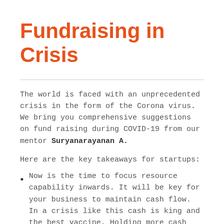Fundraising in Crisis
The world is faced with an unprecedented crisis in the form of the Corona virus. We bring you comprehensive suggestions on fund raising during COVID-19 from our mentor Suryanarayanan A.
Here are the key takeaways for startups:
Now is the time to focus resource capability inwards. It will be key for your business to maintain cash flow. In a crisis like this cash is king and the best vaccine. Holding more cash during difficult times is